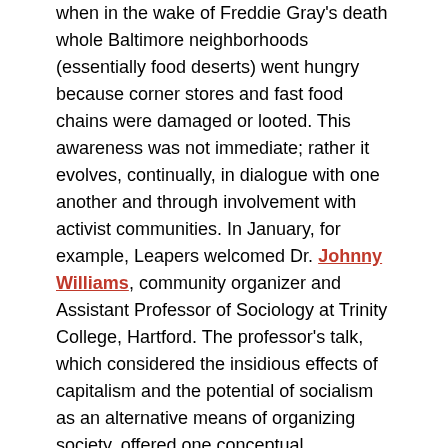when in the wake of Freddie Gray's death whole Baltimore neighborhoods (essentially food deserts) went hungry because corner stores and fast food chains were damaged or looted. This awareness was not immediate; rather it evolves, continually, in dialogue with one another and through involvement with activist communities. In January, for example, Leapers welcomed Dr. Johnny Williams, community organizer and Assistant Professor of Sociology at Trinity College, Hartford. The professor's talk, which considered the insidious effects of capitalism and the potential of socialism as an alternative means of organizing society, offered one conceptual framework for their projects. His visit was a kind of intellectual initiation in that he challenged many cherished and naive notions Leapers held, notably their near-unanimous and uncritical devotion to Barack Obama…
Indian-Americans Are Called 'Model Minorities.' But That Label Doesn't Protect Against Racism
The Huffington Post
…The biggest change came in 1965, with the passage of the Immigration and Nationality Act, which eliminated national...